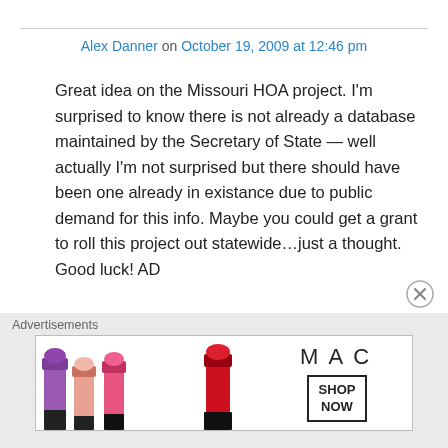Alex Danner on October 19, 2009 at 12:46 pm
Great idea on the Missouri HOA project. I’m surprised to know there is not already a database maintained by the Secretary of State — well actually I’m not surprised but there should have been one already in existance due to public demand for this info. Maybe you could get a grant to roll this project out statewide…just a thought. Good luck! AD
↳ Reply
Advertisements